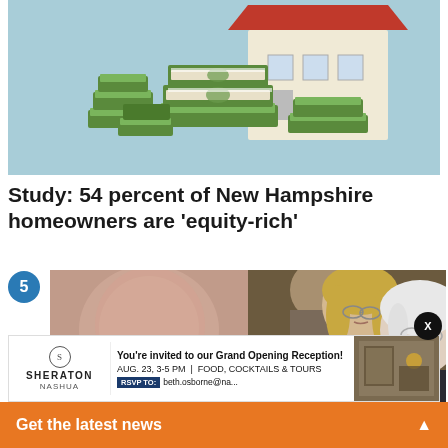[Figure (illustration): Illustration of stacks of dollar bills piled up in front of a house with a red roof, on a light blue background]
Study: 54 percent of New Hampshire homeowners are ‘equity-rich’
[Figure (photo): Photograph of two people, a woman with blonde hair wearing glasses and a man with white hair wearing glasses, looking intently at something off-camera]
[Figure (infographic): Sheraton Nashua advertisement banner: You're invited to our Grand Opening Reception! AUG. 23, 3-5 PM | FOOD, COCKTAILS & TOURS. RSVP TO: beth.osborne@...]
Get the latest news